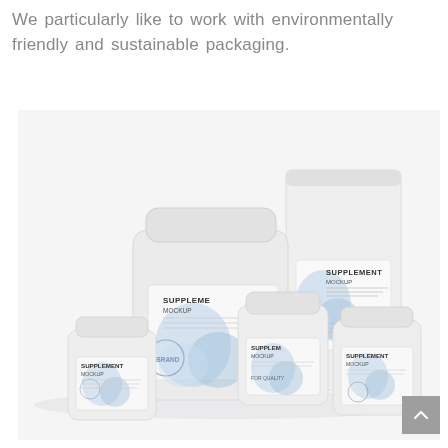We particularly like to work with environmentally friendly and sustainable packaging.
[Figure (photo): Product mockup photo showing several white supplement containers and pouches with blue watercolor-style label designs on a white background. Products include large jar, two small jars, and a large stand-up pouch, all labeled 'SUPPLEMENT MOCKUP'.]